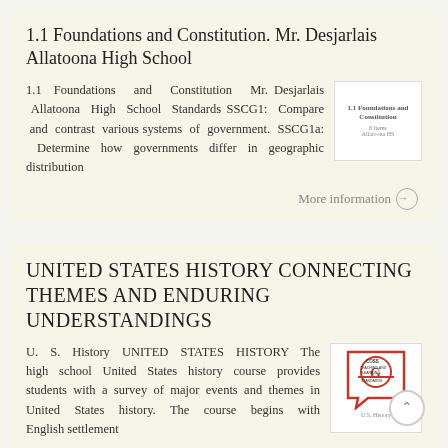1.1 Foundations and Constitution. Mr. Desjarlais Allatoona High School
1.1 Foundations and Constitution Mr. Desjarlais Allatoona High School Standards SSCG1: Compare and contrast various systems of government. SSCG1a: Determine how governments differ in geographic distribution
[Figure (screenshot): Thumbnail image showing document cover with text '1.1 Foundations and Constitution']
More information →
UNITED STATES HISTORY CONNECTING THEMES AND ENDURING UNDERSTANDINGS
U. S. History UNITED STATES HISTORY The high school United States history course provides students with a survey of major events and themes in United States history. The course begins with English settlement
[Figure (logo): COSS Teaching and Learning Standards logo with back navigation button]